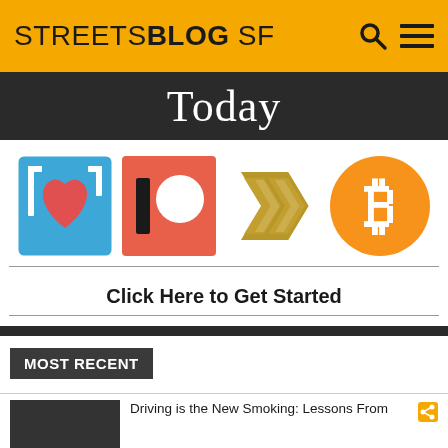STREETSBLOG SF
Today
[Figure (logo): Four donation/support icons: a blue heart/bookmark icon, a Patreon icon (coral square with circle), a golden double-S logo, and an orange Bitcoin circle logo.]
Click Here to Get Started
MOST RECENT
Driving is the New Smoking: Lessons From